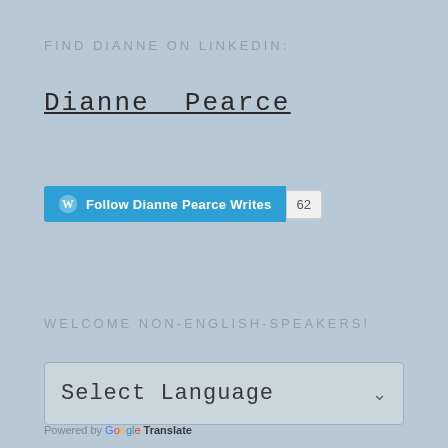FIND DIANNE ON LINKEDIN:
Dianne Pearce
[Figure (other): WordPress follow button reading 'Follow Dianne Pearce Writes' with follower count badge showing 62]
WELCOME NON-ENGLISH-SPEAKERS!
[Figure (other): Language selector dropdown showing 'Select Language' with a downward arrow, powered by Google Translate]
Powered by Google Translate